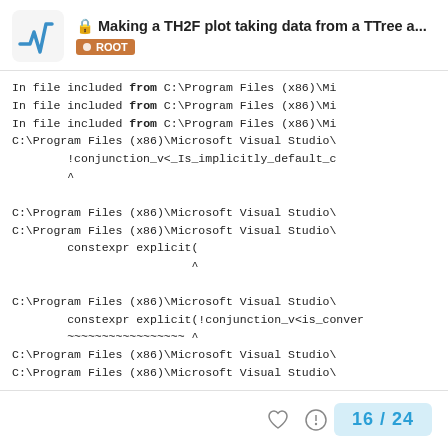Making a TH2F plot taking data from a TTree a... ROOT
In file included from C:\Program Files (x86)\Mi
In file included from C:\Program Files (x86)\Mi
In file included from C:\Program Files (x86)\Mi
C:\Program Files (x86)\Microsoft Visual Studio\
        !conjunction_v<_Is_implicitly_default_c
        ^

C:\Program Files (x86)\Microsoft Visual Studio\
C:\Program Files (x86)\Microsoft Visual Studio\
        constexpr explicit(
                          ^

C:\Program Files (x86)\Microsoft Visual Studio\
        constexpr explicit(!conjunction_v<is_conver
        ~~~~~~~~~~~~~~~~~ ^
C:\Program Files (x86)\Microsoft Visual Studio\
C:\Program Files (x86)\Microsoft Visual Studio\
16 / 24